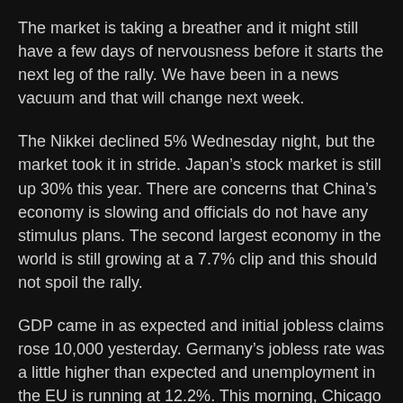The market is taking a breather and it might still have a few days of nervousness before it starts the next leg of the rally. We have been in a news vacuum and that will change next week.
The Nikkei declined 5% Wednesday night, but the market took it in stride. Japan's stock market is still up 30% this year. There are concerns that China's economy is slowing and officials do not have any stimulus plans. The second largest economy in the world is still growing at a 7.7% clip and this should not spoil the rally.
GDP came in as expected and initial jobless claims rose 10,000 yesterday. Germany's jobless rate was a little higher than expected and unemployment in the EU is running at 12.2%. This morning, Chicago PMI and consumer sentiment came in better-than-expected. The combination of these releases paints a mixed picture and that is perfect. We want